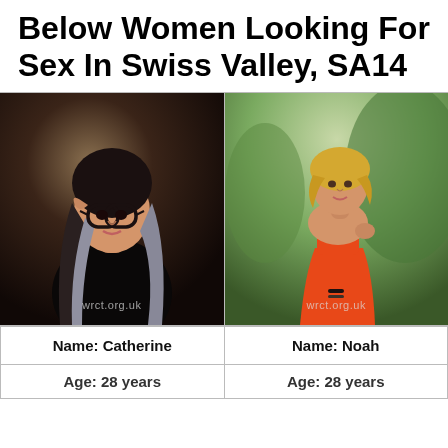Below Women Looking For Sex In Swiss Valley, SA14
[Figure (photo): Two photos side by side: left photo shows a young woman with long dark and grey ombre hair, large black-framed glasses, dark clothing; right photo shows a young woman in an orange strapless dress with short blonde hair, standing outdoors. Both photos have 'wrct.org.uk' watermark.]
| Name: Catherine | Name: Noah |
| Age: 28 years | Age: 28 years |